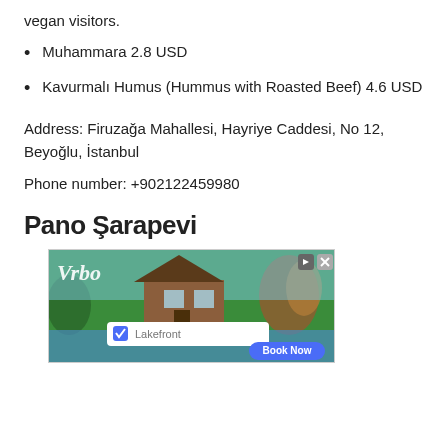vegan visitors.
Muhammara 2.8 USD
Kavurmalı Humus (Hummus with Roasted Beef) 4.6 USD
Address: Firuzağa Mahallesi, Hayriye Caddesi, No 12, Beyoğlu, İstanbul
Phone number: +902122459980
Pano Şarapevi
[Figure (other): Vrbo advertisement banner showing a lakefront cabin property with search bar showing 'Lakefront' and a 'Book Now' button]